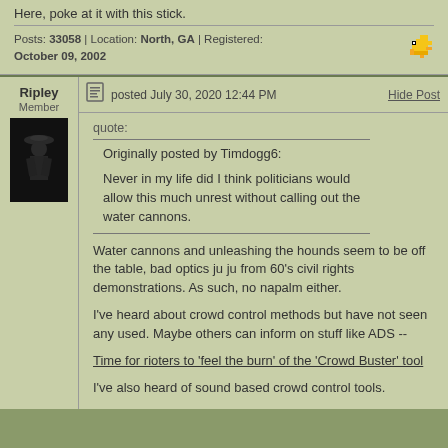Here, poke at it with this stick.
Posts: 33058 | Location: North, GA | Registered: October 09, 2002
Ripley
Member
posted July 30, 2020 12:44 PM
Hide Post
quote:
Originally posted by Timdogg6:
Never in my life did I think politicians would allow this much unrest without calling out the water cannons.
Water cannons and unleashing the hounds seem to be off the table, bad optics ju ju from 60's civil rights demonstrations. As such, no napalm either.
I've heard about crowd control methods but have not seen any used. Maybe others can inform on stuff like ADS --
Time for rioters to 'feel the burn' of the 'Crowd Buster' tool
I've also heard of sound based crowd control tools.